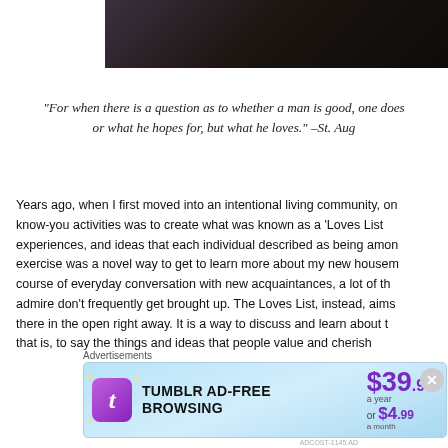[Figure (photo): Dark background photo strip, partially visible at top right of page, appears to show a dark object or book]
“For when there is a question as to whether a man is good, one does not ask what he believes, or what he hopes for, but what he loves.” –St. Augustine
Years ago, when I first moved into an intentional living community, one of our get-to-know-you activities was to create what was known as a ‘Loves List’ — a collection of things, experiences, and ideas that each individual described as being among their deepest loves. This exercise was a novel way to get to learn more about my new housemates because, in the ordinary course of everyday conversation with new acquaintances, a lot of the things that we truly love and admire don’t frequently get brought up. The Loves List, instead, aims to get those things out there in the open right away. It is a way to discuss and learn about the things people love — that is, to say the things and ideas that people value and cherish
Advertisements
[Figure (screenshot): Tumblr Ad-Free Browsing advertisement banner: $39.99 a year or $4.99 a month]